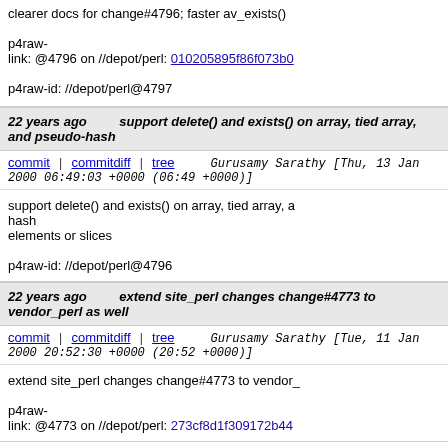clearer docs for change#4796; faster av_exists()

p4raw-
link: @4796 on //depot/perl: 010205895f86f073b0...

p4raw-id: //depot/perl@4797
22 years ago   support delete() and exists() on array, tied array, and pseudo-hash
commit | commitdiff | tree   Gurusamy Sarathy [Thu, 13 Jan 2000 06:49:03 +0000 (06:49 +0000)]
support delete() and exists() on array, tied array, and pseudo-hash elements or slices

p4raw-id: //depot/perl@4796
22 years ago   extend site_perl changes change#4773 to vendor_perl as well
commit | commitdiff | tree   Gurusamy Sarathy [Tue, 11 Jan 2000 20:52:30 +0000 (20:52 +0000)]
extend site_perl changes change#4773 to vendor_...

p4raw-
link: @4773 on //depot/perl: 273cf8d1f309172b44...